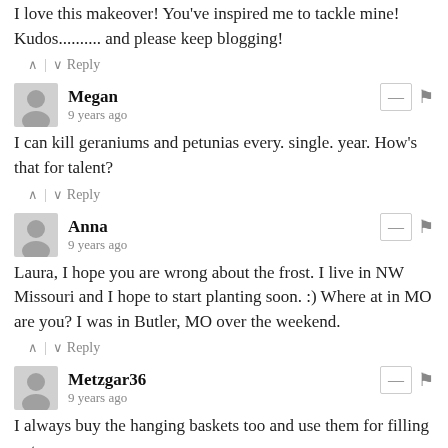I love this makeover! You've inspired me to tackle mine! Kudos.......... and please keep blogging!
^ | v Reply
Megan
9 years ago
I can kill geraniums and petunias every. single. year.  How's that for talent?
^ | v Reply
Anna
9 years ago
Laura, I hope you are wrong about the frost. I live in NW Missouri and I hope to start planting soon. :) Where at in MO are you? I was in Butler, MO over the weekend.
^ | v Reply
Metzgar36
9 years ago
I always buy the hanging baskets too and use them for filling pots.
I should try vinca...
^ | v Reply